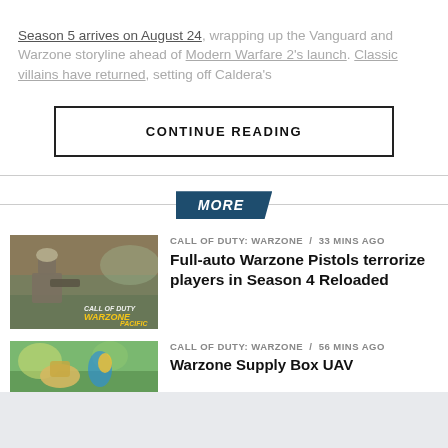Season 5 arrives on August 24, wrapping up the Vanguard and Warzone storyline ahead of Modern Warfare 2's launch. Classic villains have returned, setting off Caldera's
CONTINUE READING
MORE
CALL OF DUTY: WARZONE / 33 mins ago
Full-auto Warzone Pistols terrorize players in Season 4 Reloaded
[Figure (photo): Screenshot from Call of Duty Warzone Pacific showing a soldier aiming a pistol in an outdoor setting with Warzone Pacific logo overlay]
CALL OF DUTY: WARZONE / 56 mins ago
Warzone Supply Box UAV
[Figure (photo): Screenshot from Warzone showing outdoor tropical environment with colorful elements]